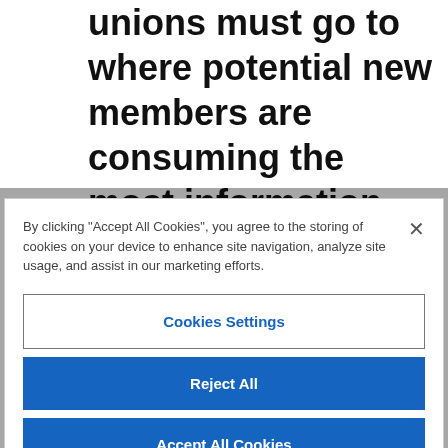unions must go to where potential new members are consuming the most information, so consider joining TikTok or Instagram. While the millennial and Gen Z populations may not be your target market at this moment, it would be beneficial to include them in your marketing strategy. There are some populations that...
By clicking "Accept All Cookies", you agree to the storing of cookies on your device to enhance site navigation, analyze site usage, and assist in our marketing efforts.
Cookies Settings
Reject All
Accept All Cookies